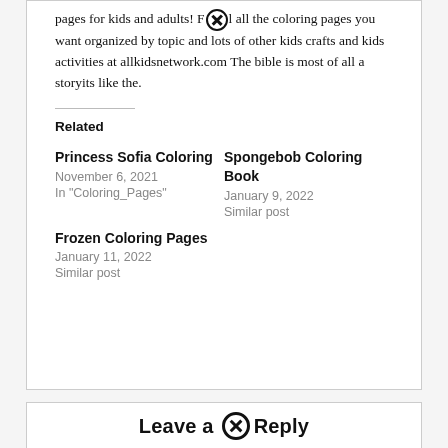pages for kids and adults! F⊗l all the coloring pages you want organized by topic and lots of other kids crafts and kids activities at allkidsnetwork.com The bible is most of all a storyits like the.
Related
Princess Sofia Coloring
November 6, 2021
In "Coloring_Pages"
Spongebob Coloring Book
January 9, 2022
Similar post
Frozen Coloring Pages
January 11, 2022
Similar post
Leave a Reply